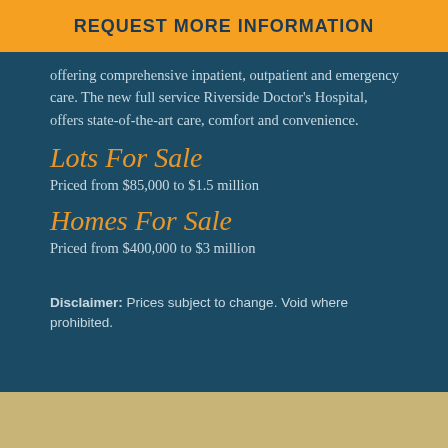REQUEST MORE INFORMATION
offering comprehensive inpatient, outpatient and emergency care. The new full service Riverside Doctor's Hospital, offers state-of-the-art care, comfort and convenience.
Lots For Sale
Priced from $85,000 to $1.5 million
Homes For Sale
Priced from $400,000 to $3 million
Disclaimer: Prices subject to change. Void where prohibited.